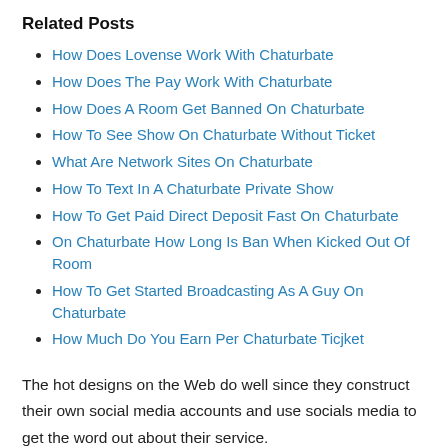Related Posts
How Does Lovense Work With Chaturbate
How Does The Pay Work With Chaturbate
How Does A Room Get Banned On Chaturbate
How To See Show On Chaturbate Without Ticket
What Are Network Sites On Chaturbate
How To Text In A Chaturbate Private Show
How To Get Paid Direct Deposit Fast On Chaturbate
On Chaturbate How Long Is Ban When Kicked Out Of Room
How To Get Started Broadcasting As A Guy On Chaturbate
How Much Do You Earn Per Chaturbate Ticjket
The hot designs on the Web do well since they construct their own social media accounts and use socials media to get the word out about their service.